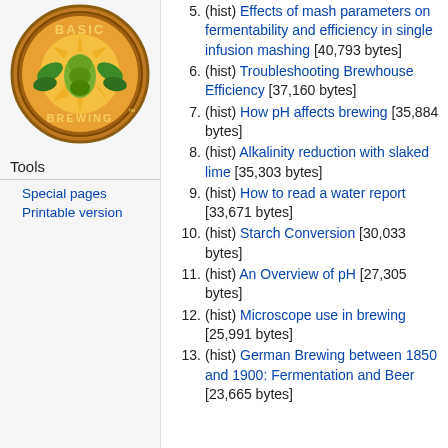[Figure (logo): Basic Brewing circular logo with hops, wheat, and sunburst design]
Tools
Special pages
Printable version
5. (hist) Effects of mash parameters on fermentability and efficiency in single infusion mashing [40,793 bytes]
6. (hist) Troubleshooting Brewhouse Efficiency [37,160 bytes]
7. (hist) How pH affects brewing [35,884 bytes]
8. (hist) Alkalinity reduction with slaked lime [35,303 bytes]
9. (hist) How to read a water report [33,671 bytes]
10. (hist) Starch Conversion [30,033 bytes]
11. (hist) An Overview of pH [27,305 bytes]
12. (hist) Microscope use in brewing [25,991 bytes]
13. (hist) German Brewing between 1850 and 1900: Fermentation and Beer [23,665 bytes]